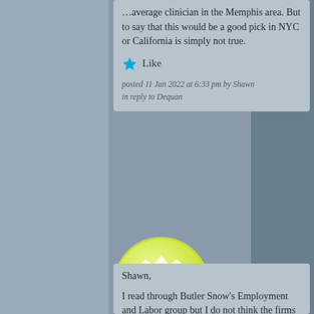Memphis area. But to say that this would be a good pick in NYC or California is simply not true.
Like
posted 11 Jan 2022 at 6:33 pm by Shawn in reply to Dequan
[Figure (illustration): Round avatar with green/yellow decorative diamond grid pattern on a circular badge]
Shawn,
I read through Butler Snow's Employment and Labor group but I do not think the firms view automatically means Mr. Mathis agrees with it in full, if at all. If he has writings or speeches stating his agreement then I would agree he is not a good candidate. But I think it's more likely then not he has nothing documented stating his...